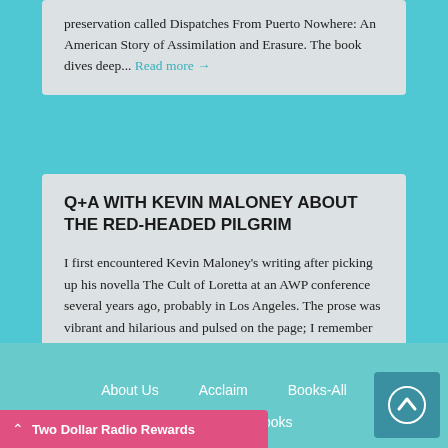preservation called Dispatches From Puerto Nowhere: An American Story of Assimilation and Erasure. The book dives deep... Read more →
Q+A WITH KEVIN MALONEY ABOUT THE RED-HEADED PILGRIM
I first encountered Kevin Maloney's writing after picking up his novella The Cult of Loretta at an AWP conference several years ago, probably in Los Angeles. The prose was vibrant and hilarious and pulsed on the page; I remember tearing... Read more →
About Us   Acclaim   Books-All   Books-Ebooks   Two Dollar Radio Rewards